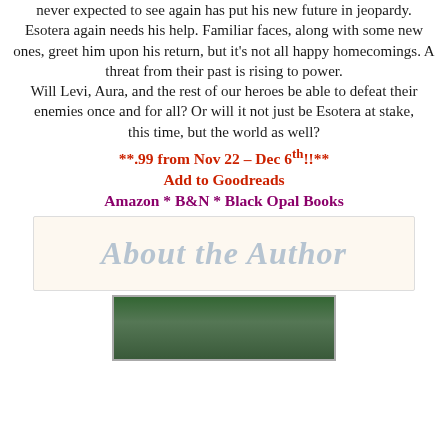never expected to see again has put his new future in jeopardy. Esotera again needs his help. Familiar faces, along with some new ones, greet him upon his return, but it's not all happy homecomings. A threat from their past is rising to power. Will Levi, Aura, and the rest of our heroes be able to defeat their enemies once and for all? Or will it not just be Esotera at stake, this time, but the world as well?
**.99 from Nov 22 – Dec 6th!!**
Add to Goodreads
Amazon * B&N * Black Opal Books
About the Author
[Figure (photo): Photo of the author, partially visible at bottom of page, showing a green outdoor background]